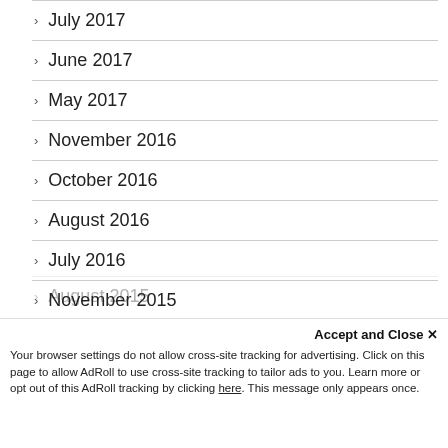July 2017
June 2017
May 2017
November 2016
October 2016
August 2016
July 2016
November 2015
August 2015
Accept and Close ✕
Your browser settings do not allow cross-site tracking for advertising. Click on this page to allow AdRoll to use cross-site tracking to tailor ads to you. Learn more or opt out of this AdRoll tracking by clicking here. This message only appears once.